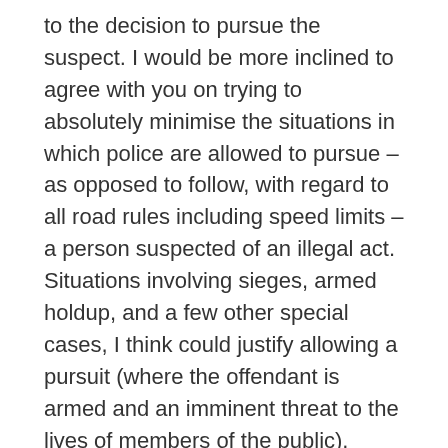to the decision to pursue the suspect. I would be more inclined to agree with you on trying to absolutely minimise the situations in which police are allowed to pursue – as opposed to follow, with regard to all road rules including speed limits – a person suspected of an illegal act. Situations involving sieges, armed holdup, and a few other special cases, I think could justify allowing a pursuit (where the offendant is armed and an imminent threat to the lives of members of the public).
BTW, police in the course of their normal duties may be required somewhere else, urgently. They typically speed with sirens on, but even so they must still drive with suitable allowance for traffic and weather conditions, and with due regard for the safety of others. I notice that crashes involving police